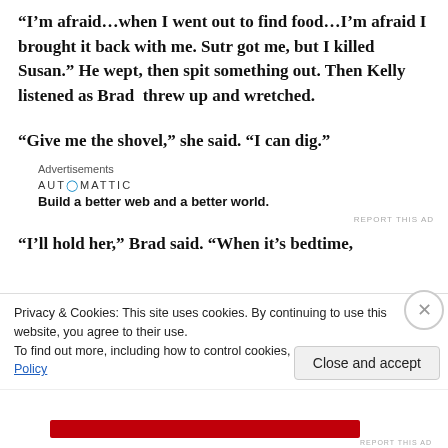“I’m afraid…when I went out to find food…I’m afraid I brought it back with me. Sutr got me, but I killed Susan.” He wept, then spit something out. Then Kelly listened as Brad threw up and wretched.
“Give me the shovel,” she said. “I can dig.”
Advertisements
[Figure (logo): Automattic logo with tagline: Build a better web and a better world.]
REPORT THIS AD
“I’ll hold her,” Brad said. “When it’s bedtime,
Privacy & Cookies: This site uses cookies. By continuing to use this website, you agree to their use.
To find out more, including how to control cookies, see here: Cookie Policy
Close and accept
REPORT THIS AD